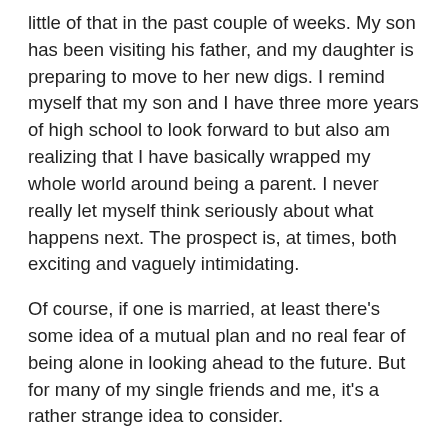little of that in the past couple of weeks. My son has been visiting his father, and my daughter is preparing to move to her new digs. I remind myself that my son and I have three more years of high school to look forward to but also am realizing that I have basically wrapped my whole world around being a parent. I never really let myself think seriously about what happens next. The prospect is, at times, both exciting and vaguely intimidating.
Of course, if one is married, at least there's some idea of a mutual plan and no real fear of being alone in looking ahead to the future. But for many of my single friends and me, it's a rather strange idea to consider.
The one universal thread I find in talking with my fellow single parent friends is that we all seem to have a fear of eventually being alone, followed by an even more urgent phobia of not wanting to fail at a relationship. If you've ever been near a divorce, that's not such a difficult thing to understand. I have yet to meet anyone who wants to go through that kind of crisis again. It's no wonder that many single parents find their post child-raising future a delicate